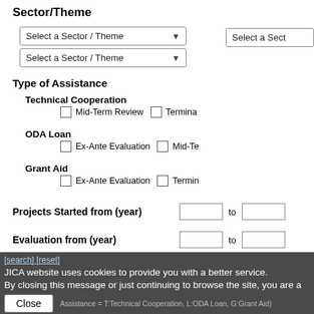Sector/Theme
Select a Sector / Theme (dropdown 1)
Select a Sect... (dropdown 2, partial, right)
Select a Sector / Theme (dropdown 3)
Type of Assistance
Technical Cooperation
Mid-Term Review  Termina...
ODA Loan
Ex-Ante Evaluation  Mid-Te...
Grant Aid
Ex-Ante Evaluation  Termin...
Projects Started from (year)  [   ] to [   ]
Evaluation from (year)  [   ] to [   ]
[search] [reset]
JICA website uses cookies to provide you with a better service. By closing this message or just continuing to browse the site, you are a...
Close
Assistance = T:Technical Cooperation, L:ODA Loan, G:Grant Aid)
Year = Fiscal Year in Japan)